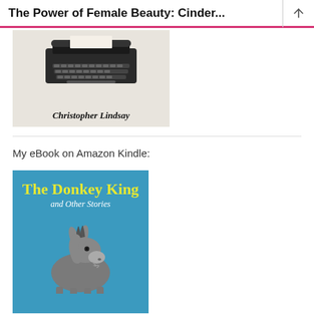The Power of Female Beauty: Cinder...
[Figure (photo): Book cover showing a vintage typewriter on crumpled paper with author name Christopher Lindsay in bold italic text]
My eBook on Amazon Kindle:
[Figure (photo): Book cover for 'The Donkey King and Other Stories' — blue background with yellow bold title text and an illustration of a donkey looking upward]